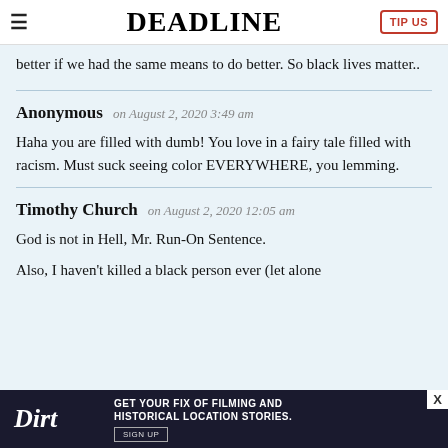DEADLINE | TIP US
better if we had the same means to do better. So black lives matter..
Anonymous on August 2, 2020 3:49 am

Haha you are filled with dumb! You love in a fairy tale filled with racism. Must suck seeing color EVERYWHERE, you lemming.
Timothy Church on August 2, 2020 12:05 am

God is not in Hell, Mr. Run-On Sentence.

Also, I haven't killed a black person ever (let alone
[Figure (screenshot): Advertisement banner for 'Dirt' with text 'GET YOUR FIX OF FILMING AND HISTORICAL LOCATION STORIES. SIGN UP']